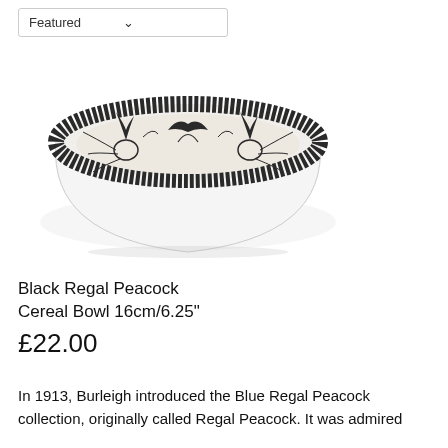Featured
[Figure (photo): A ceramic cereal bowl with black Regal Peacock pattern featuring birds and floral motifs on a white body, viewed from a slight angle showing the decorated interior rim.]
Black Regal Peacock Cereal Bowl 16cm/6.25"
£22.00
In 1913, Burleigh introduced the Blue Regal Peacock collection, originally called Regal Peacock. It was admired